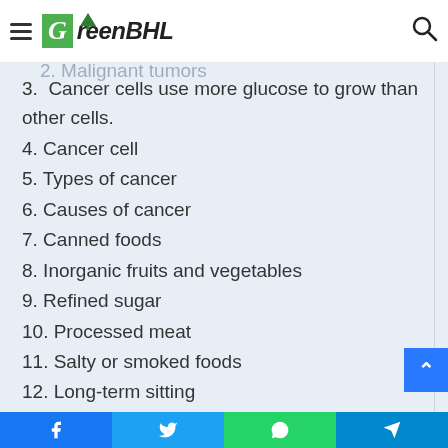GreenBHL
Table of Contents
2.  Malignant tumors
3.  Cancer cells use more glucose to grow than other cells.
4. Cancer cell
5. Types of cancer
6. Causes of cancer
7. Canned foods
8. Inorganic fruits and vegetables
9. Refined sugar
10. Processed meat
11. Salty or smoked foods
12. Long-term sitting
13. Industrial juices